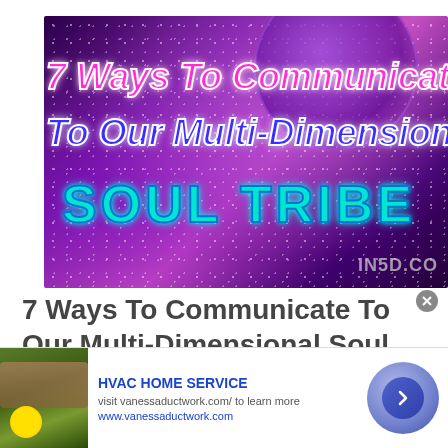[Figure (illustration): Dark purple/galaxy background image with glittery sparkles and an orb shape. Text overlay reads '7 Ways To Communicate To Our Multi-Dimensional SOUL TRIBE' with pink, blue, and cyan neon-styled italic text. Watermark reads 'IN50.CO' in bottom right.]
7 Ways To Communicate To Our Multi-Dimensional Soul Tribe
[Figure (photo): Advertisement banner: thumbnail shows hands in soil with yellow flower. Ad for HVAC HOME SERVICE with text 'visit vanessaductwork.com/ to learn more' and URL 'www.vanessaductwork.com'. Navigation arrow button on right.]